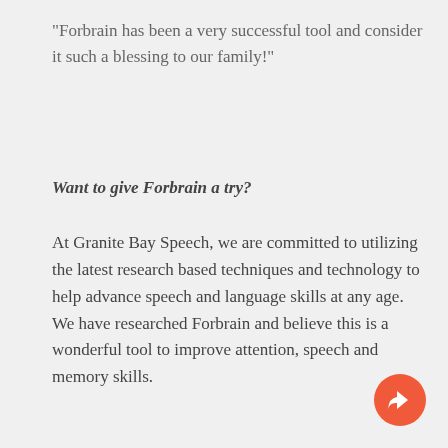“Forbrain has been a very successful tool and consider it such a blessing to our family!”
Want to give Forbrain a try?
At Granite Bay Speech, we are committed to utilizing the latest research based techniques and technology to help advance speech and language skills at any age. We have researched Forbrain and believe this is a wonderful tool to improve attention, speech and memory skills.